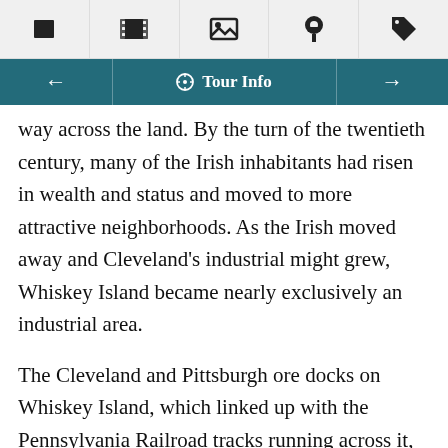[Toolbar icons: book, film, image, location, tag]
← [compass] Tour Info →
way across the land. By the turn of the twentieth century, many of the Irish inhabitants had risen in wealth and status and moved to more attractive neighborhoods. As the Irish moved away and Cleveland's industrial might grew, Whiskey Island became nearly exclusively an industrial area.
The Cleveland and Pittsburgh ore docks on Whiskey Island, which linked up with the Pennsylvania Railroad tracks running across it, featured a number of Hulett ore unloaders